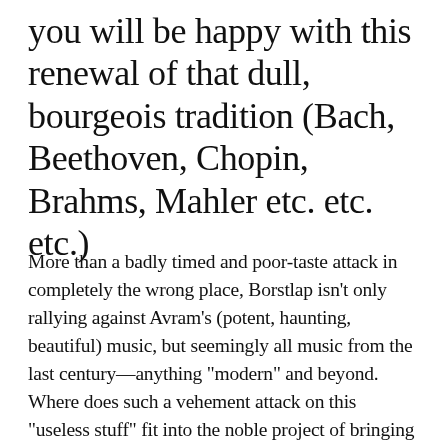you will be happy with this renewal of that dull, bourgeois tradition (Bach, Beethoven, Chopin, Brahms, Mahler etc. etc. etc.)
More than a badly timed and poor-taste attack in completely the wrong place, Borstlap isn’t only rallying against Avram’s (potent, haunting, beautiful) music, but seemingly all music from the last century—anything “modern” and beyond. Where does such a vehement attack on this “useless stuff” fit into the noble project of bringing classical music to more people? It’s a strong and frankly bizarre contrast to the